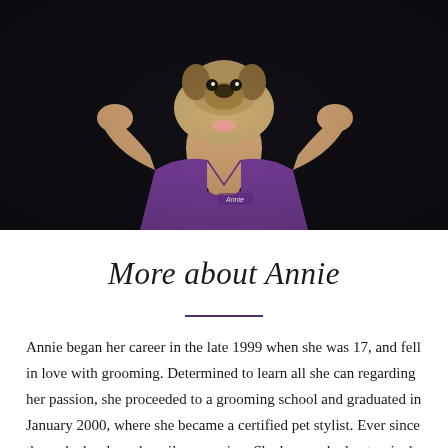[Figure (photo): A woman in a purple scrubs top kisses a small pug/French bulldog puppy she holds up in front of her face. The background is dark/black. Her name tag reads 'Annie'.]
More about Annie
Annie began her career in the late 1999 when she was 17, and fell in love with grooming. Determined to learn all she can regarding her passion, she proceeded to a grooming school and graduated in January 2000, where she became a certified pet stylist. Ever since then, she has been happily grooming. She has worked extensively with Pets Smart for 5